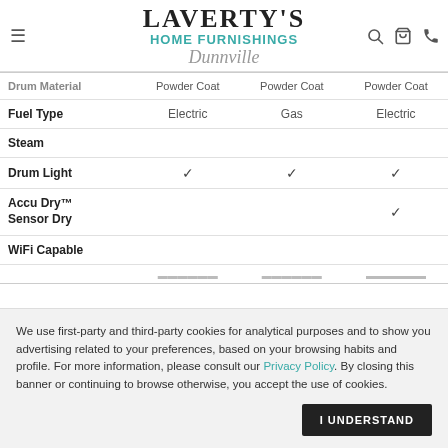[Figure (logo): Laverty's Home Furnishings Dunnville logo with hamburger menu, search, cart, and phone icons]
| Feature | Col1 | Col2 | Col3 |
| --- | --- | --- | --- |
| Drum Material | Powder Coat | Powder Coat | Powder Coat |
| Fuel Type | Electric | Gas | Electric |
| Steam |  |  |  |
| Drum Light | ✓ | ✓ | ✓ |
| Accu Dry™ Sensor Dry |  |  | ✓ |
| WiFi Capable |  |  |  |
|  | (partial) | (partial) | (partial) |
We use first-party and third-party cookies for analytical purposes and to show you advertising related to your preferences, based on your browsing habits and profile. For more information, please consult our Privacy Policy. By closing this banner or continuing to browse otherwise, you accept the use of cookies.
I UNDERSTAND